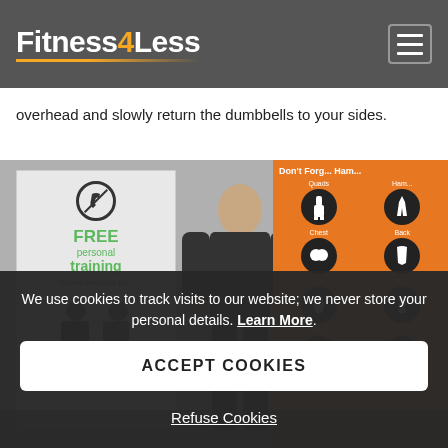Fitness4Less
overhead and slowly return the dumbbells to your sides.
[Figure (photo): A person in a gym in front of a 'FREE personal training' banner and an orange muscle group exercise chart banner.]
We use cookies to track visits to our website; we never store your personal details. Learn More.
ACCEPT COOKIES
Refuse Cookies